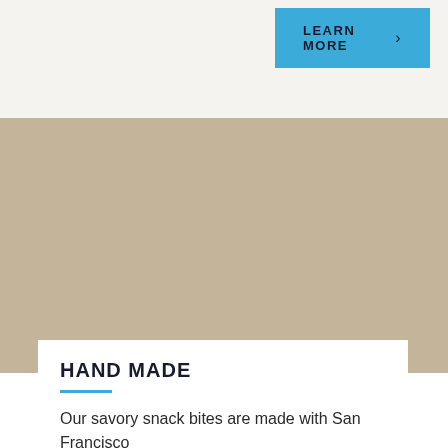LEARN MORE >
[Figure (photo): Large tan/beige colored image placeholder area]
HAND MADE
Our savory snack bites are made with San Francisco